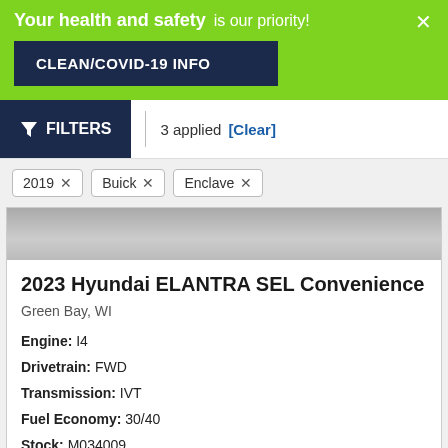Your health and safety is our priority!
CLEAN/COVID-19 INFO
FILTERS  |  3 applied  [Clear]
2019 ×
Buick ×
Enclave ×
[Figure (photo): Gray car image banner]
2023 Hyundai ELANTRA SEL Convenience
Green Bay, WI
Engine: I4
Drivetrain: FWD
Transmission: IVT
Fuel Economy: 30/40
Stock: M034009
[Figure (illustration): Two color swatches: dark navy blue and gray]